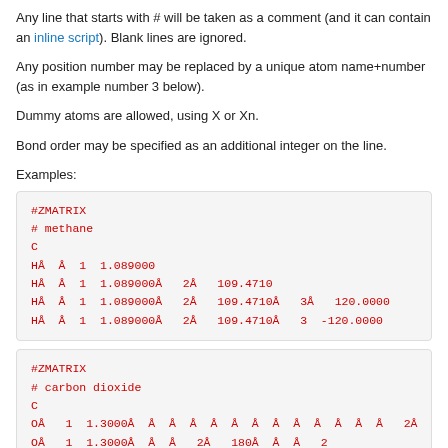Any line that starts with # will be taken as a comment (and it can contain an inline script). Blank lines are ignored.
Any position number may be replaced by a unique atom name+number (as in example number 3 below).
Dummy atoms are allowed, using X or Xn.
Bond order may be specified as an additional integer on the line.
Examples:
[Figure (other): Code block showing #ZMATRIX methane example with Z-matrix coordinates]
[Figure (other): Code block showing #ZMATRIX carbon dioxide example with Z-matrix coordinates]